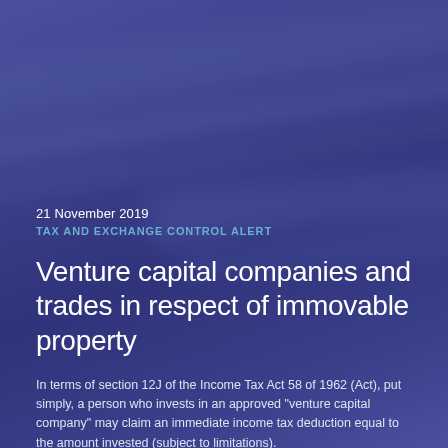[Figure (photo): Blurred dark blue background with diagonal keyboard/surface reflections creating abstract stripe patterns in indigo and blue tones.]
21 November 2019
TAX AND EXCHANGE CONTROL ALERT
Venture capital companies and trades in respect of immovable property
In terms of section 12J of the Income Tax Act 58 of 1962 (Act), put simply, a person who invests in an approved "venture capital company" may claim an immediate income tax deduction equal to the amount invested (subject to limitations).